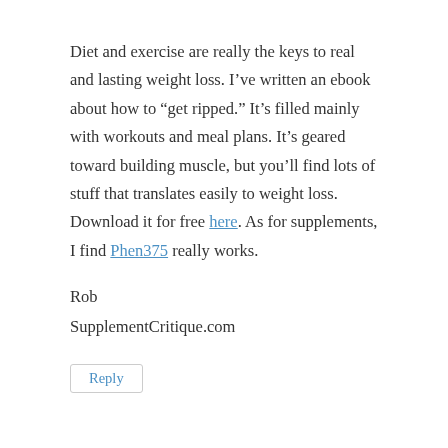Diet and exercise are really the keys to real and lasting weight loss. I’ve written an ebook about how to “get ripped.” It’s filled mainly with workouts and meal plans. It’s geared toward building muscle, but you’ll find lots of stuff that translates easily to weight loss. Download it for free here. As for supplements, I find Phen375 really works.
Rob
SupplementCritique.com
Reply